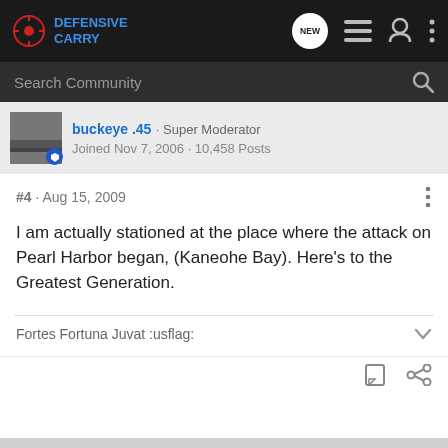Defensive Carry — navigation bar with Search Community
buckeye .45 · Super Moderator
Joined Nov 7, 2006 · 10,458 Posts
#4 · Aug 15, 2009
I am actually stationed at the place where the attack on Pearl Harbor began, (Kaneohe Bay). Here's to the Greatest Generation.
Fortes Fortuna Juvat :usflag: